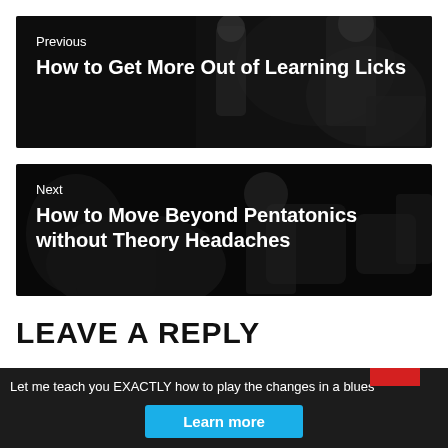[Figure (photo): Black and white photo of musicians performing on stage, with navigation overlay showing 'Previous' link]
Previous
How to Get More Out of Learning Licks
[Figure (photo): Black and white photo of a guitarist playing, with navigation overlay showing 'Next' link]
Next
How to Move Beyond Pentatonics without Theory Headaches
LEAVE A REPLY
Let me teach you EXACTLY how to play the changes in a blues
Learn more